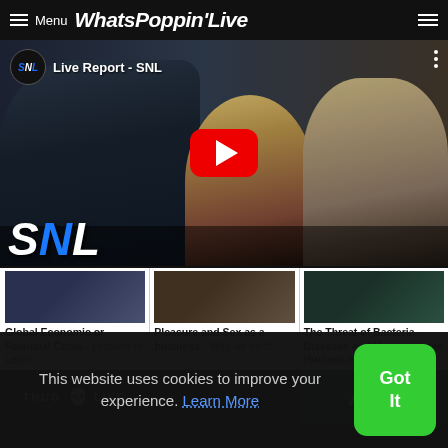Menu WhatsPoppinʼLive
[Figure (screenshot): YouTube video thumbnail for Live Report - SNL, showing SNL logo, three people (actors), large red YouTube play button, and SNL logo at bottom left]
Global Economic or Financial Crisis - Lessons to Learn
Pleasure and Sex as a business - Why we do it!
The Threat of Bacteria, Diseases and Viruses to the Humans experience
[Figure (screenshot): Three thumbnail images: THUG LIFE text with skull, dark photo thumbnail, ALI text on teal background]
This website uses cookies to improve your experience. Learn More
Got It